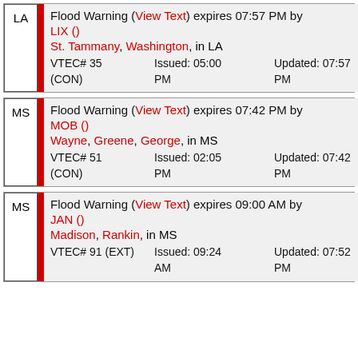| LA | Flood Warning (View Text) expires 07:57 PM by LIX () | St. Tammany, Washington, in LA | VTEC# 35 (CON) | Issued: 05:00 PM | Updated: 07:57 PM |
| MS | Flood Warning (View Text) expires 07:42 PM by MOB () | Wayne, Greene, George, in MS | VTEC# 51 (CON) | Issued: 02:05 PM | Updated: 07:42 PM |
| MS | Flood Warning (View Text) expires 09:00 AM by JAN () | Madison, Rankin, in MS | VTEC# 91 (EXT) | Issued: 09:24 AM | Updated: 07:52 PM |